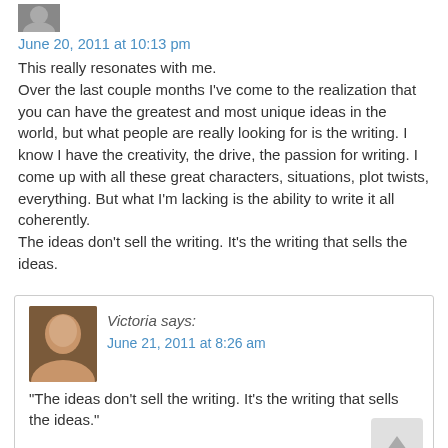[Figure (photo): Small avatar/profile image at top left]
June 20, 2011 at 10:13 pm
This really resonates with me.
Over the last couple months I've come to the realization that you can have the greatest and most unique ideas in the world, but what people are really looking for is the writing. I know I have the creativity, the drive, the passion for writing. I come up with all these great characters, situations, plot twists, everything. But what I'm lacking is the ability to write it all coherently.
The ideas don't sell the writing. It's the writing that sells the ideas.
Victoria says:
June 21, 2011 at 8:26 am
“The ideas don’t sell the writing. It’s the writing that sells the ideas.”

That's a great way to put it, Andrew. That's how it works with readers.